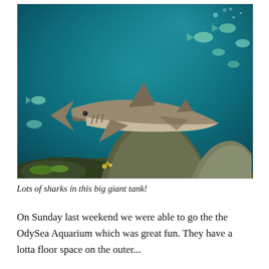[Figure (photo): Underwater aquarium photo showing a large shark swimming in a big tank with smaller fish, coral formations, and rock structures. The water is a deep teal/blue-green color.]
Lots of sharks in this big giant tank!
On Sunday last weekend we were able to go the the OdySea Aquarium which was great fun. They have a lotta floor space on the outer...